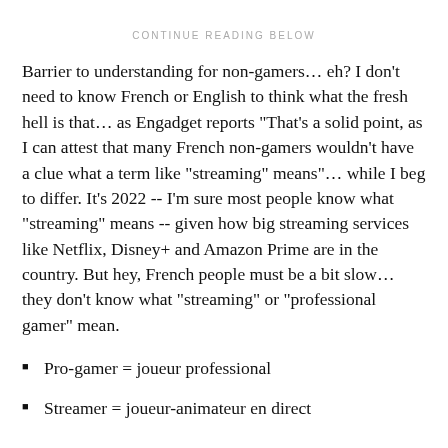CONTINUE READING BELOW
Barrier to understanding for non-gamers... eh? I don't need to know French or English to think what the fresh hell is that... as Engadget reports "That's a solid point, as I can attest that many French non-gamers wouldn't have a clue what a term like "streaming" means"... while I beg to differ. It's 2022 -- I'm sure most people know what "streaming" means -- given how big streaming services like Netflix, Disney+ and Amazon Prime are in the country. But hey, French people must be a bit slow... they don't know what "streaming" or "professional gamer" mean.
Pro-gamer = joueur professional
Streamer = joueur-animateur en direct